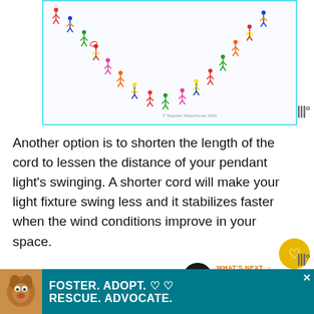[Figure (illustration): Colorful illustrated figures of people arranged in a curved arc/chain pattern against a light blue-bordered white background. Figures appear to be ice skaters or walking people in bright colors (red, yellow, green, blue, pink). Copyright notice: © Stephen Waterhouse 2020]
Another option is to shorten the length of the cord to lessen the distance of your pendant light's swinging. A shorter cord will make your light fixture swing less and it stabilizes faster when the wind conditions improve in your space.
Ways To Hang Pendant Light
[Figure (infographic): Advertisement banner: Dog photo on left, teal background with text FOSTER. ADOPT. ♡ ♡ / RESCUE. ADVOCATE. in white bold text. Close button X in top right corner.]